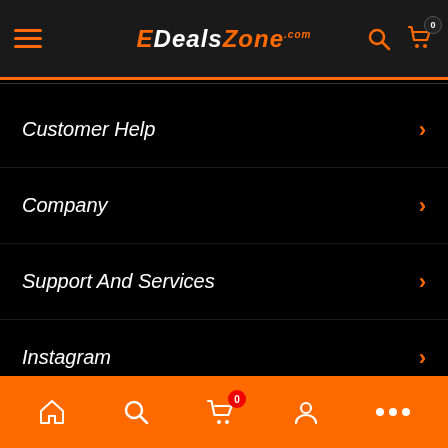EDealsZone
Customer Help
Company
Support And Services
Instagram
Prices and offers are subject to change. © 2021 EDealszone LLC. Trademarks and brands
[Figure (logo): Google Play store badge]
[Figure (logo): Apple App Store badge]
Bottom navigation bar with home, search, cart, account, and more icons